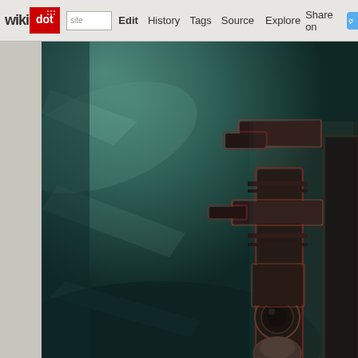wikidot | site | Edit | History | Tags | Source | Explore | Share on Twitter
[Figure (screenshot): A dark, moody scene showing a large mechanical or industrial structure on the right side with a teal/dark green atmospheric background. The image has a 3D anaglyph effect (red-cyan color fringing). The structure appears to be a sci-fi or fantasy weapon/machine with cylindrical components and metallic parts. The background shows murky, underwater or foggy atmospheric light beams.]